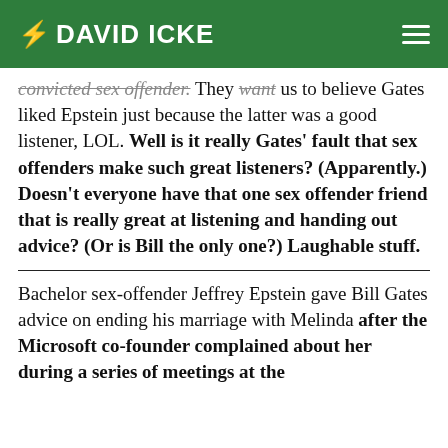DAVID ICKE
convicted sex offender. They want us to believe Gates liked Epstein just because the latter was a good listener, LOL. Well is it really Gates' fault that sex offenders make such great listeners? (Apparently.) Doesn't everyone have that one sex offender friend that is really great at listening and handing out advice? (Or is Bill the only one?) Laughable stuff.
Bachelor sex-offender Jeffrey Epstein gave Bill Gates advice on ending his marriage with Melinda after the Microsoft co-founder complained about her during a series of meetings at the